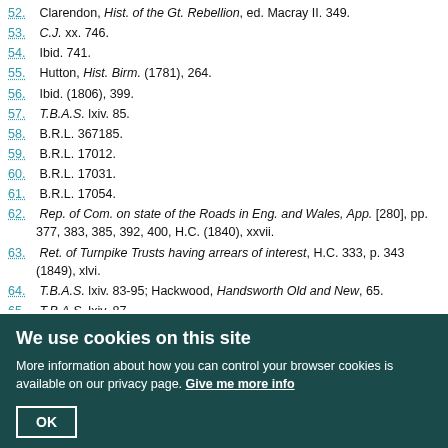52. Clarendon, Hist. of the Gt. Rebellion, ed. Macray II. 349.
53. C.J. xx. 746.
54. Ibid. 741.
55. Hutton, Hist. Birm. (1781), 264.
56. Ibid. (1806), 399.
57. T.B.A.S. lxiv. 85.
58. B.R.L. 367185.
59. B.R.L. 17012.
60. B.R.L. 17031.
61. B.R.L. 17054.
62. Rep. of Com. on state of the Roads in Eng. and Wales, App. [280], pp. 377, 383, 385, 392, 400, H.C. (1840), xxvii.
63. Ret. of Turnpike Trusts having arrears of interest, H.C. 333, p. 343 (1849), xlvi.
64. T.B.A.S. lxiv. 83-95; Hackwood, Handsworth Old and New, 65.
65. T.B.A.S. lxiv. 87.
66. Hutton, Hist. Birm. (1781), 264.
67. Rep. Com. Roads, App. p. 450 (1840), xxvii.
68. T.B.A.S. lxiv. 87.
69. C.J. xv. 97.
70. T.B.A.S. lxiv. 59.
71. Ibid. 85
72. An Act for repairing the roads from Worcester, 22 Geo. III, c. 43.
We use cookies on this site
More information about how you can control your browser cookies is available on our privacy page. Give me more info